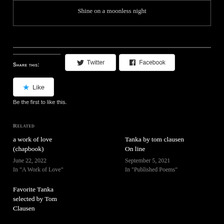Shine on a moonless night
Share this:
Twitter
Facebook
Like
Be the first to like this.
Related
a work of love (chapbook)
June 22, 2022
In "A Work of Love"
Tanka by tom clausen On line
September 5, 2021
In "Published Poems"
Favorite Tanka selected by Tom Clausen